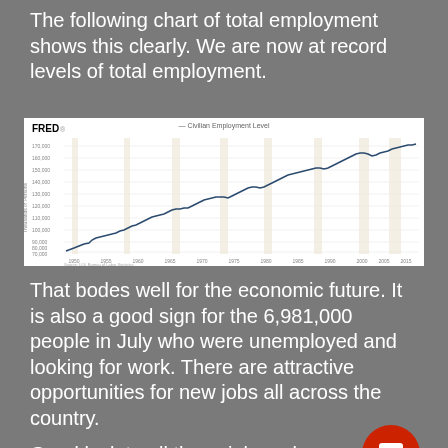The following chart of total employment shows this clearly. We are now at record levels of total employment.
[Figure (line-chart): FRED line chart showing Civilian Employment Level from approximately 1950 to 2015, rising from about 58,000 thousand to over 160,000 thousand persons. Source: U.S. Bureau of Labor Statistics, fred.stlouisfed.org]
That bodes well for the economic future. It is also a good sign for the 6,981,000 people in July who were unemployed and looking for work. There are attractive opportunities for new jobs all across the country.
Good luck to all those job seekers. The right position for you is out